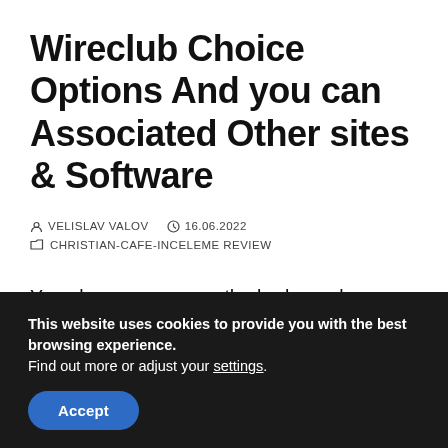Wireclub Choice Options And you can Associated Other sites & Software
VELISLAV VALOV  16.06.2022
CHRISTIAN-CAFE-INCELEME REVIEW
You also can program the bedroom because “By the Invite Merely” to ask a certain pair, or “Family relations Simply,” that enables only your pals to hitch the chatroom. Indeed there aren’t many security features with this specific webpages. Aforementioned is expected once the it’s a no
This website uses cookies to provide you with the best browsing experience.
Find out more or adjust your settings.